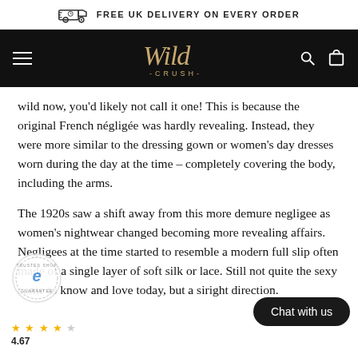FREE UK DELIVERY ON EVERY ORDER
[Figure (logo): Wild Crush logo on black navigation bar with hamburger menu, search and cart icons]
wild now, you'd likely not call it one! This is because the original French négligée was hardly revealing. Instead, they were more similar to the dressing gown or women's day dresses worn during the day at the time – completely covering the body, including the arms.
The 1920s saw a shift away from this more demure negligee as women's nightwear changed becoming more revealing affairs. Negligees at the time started to resemble a modern full slip often made of a single layer of soft silk or lace. Still not quite the sexy come to know and love today, but a si right direction.